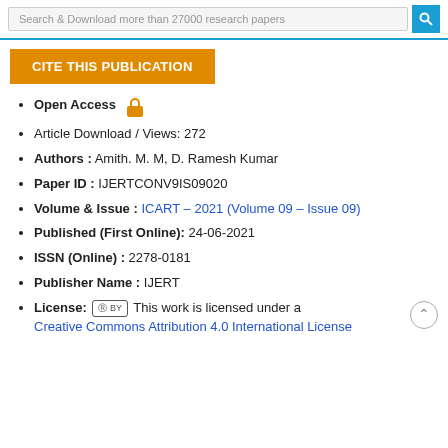Search & Download more than 27000 research papers
CITE THIS PUBLICATION
Open Access
Article Download / Views: 272
Authors : Amith. M. M, D. Ramesh Kumar
Paper ID : IJERTCONV9IS09020
Volume & Issue : ICART – 2021 (Volume 09 – Issue 09)
Published (First Online): 24-06-2021
ISSN (Online) : 2278-0181
Publisher Name : IJERT
License: [cc] BY  This work is licensed under a Creative Commons Attribution 4.0 International License